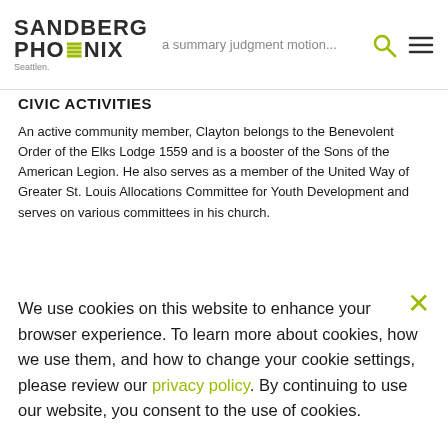Sandberg Phoenix — a summary judgment motion... Seattle
CIVIC ACTIVITIES
An active community member, Clayton belongs to the Benevolent Order of the Elks Lodge 1559 and is a booster of the Sons of the American Legion. He also serves as a member of the United Way of Greater St. Louis Allocations Committee for Youth Development and serves on various committees in his church.
We use cookies on this website to enhance your browser experience. To learn more about cookies, how we use them, and how to change your cookie settings, please review our privacy policy. By continuing to use our website, you consent to the use of cookies.